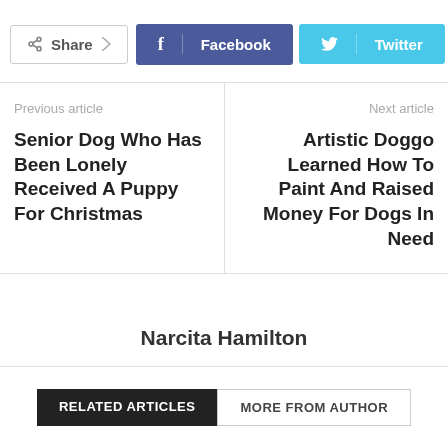[Figure (infographic): Social share bar with Share button, Facebook button, Twitter button, and plus button]
Previous article
Senior Dog Who Has Been Lonely Received A Puppy For Christmas
Next article
Artistic Doggo Learned How To Paint And Raised Money For Dogs In Need
Narcita Hamilton
RELATED ARTICLES
MORE FROM AUTHOR